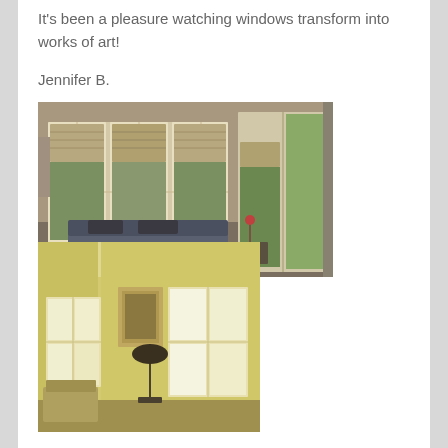It's been a pleasure watching windows transform into works of art!
Jennifer B.
[Figure (photo): Interior room photo showing windows with roman shade treatments, a sofa, and sliding glass door with garden view]
[Figure (photo): Interior bedroom/sitting room photo with yellow walls, multiple windows with no treatments, framed artwork, and a chair]